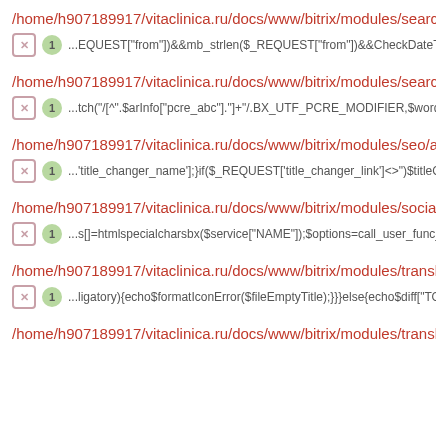/home/h907189917/vitaclinica.ru/docs/www/bitrix/modules/search/ins...
1  ...EQUEST["from"])&&mb_strlen($_REQUEST["from"])&&CheckDateTim...
/home/h907189917/vitaclinica.ru/docs/www/bitrix/modules/search/to...
1  ...tch("/[^".SarInfo["pcre_abc"]."]+/".BX_UTF_PCRE_MODIFIER,$word)) c...
/home/h907189917/vitaclinica.ru/docs/www/bitrix/modules/seo/admi...
1  ...'title_changer_name'];}if($_REQUEST['title_changer_link']<>")$titleChang...
/home/h907189917/vitaclinica.ru/docs/www/bitrix/modules/socialserv...
1  ...s[]=htmlspecialcharsbx($service["NAME"]);$options=call_user_func_array...
/home/h907189917/vitaclinica.ru/docs/www/bitrix/modules/translate/...
1  ...ligatory){echo$formatIconError($fileEmptyTitle);}}}else{echo$diff["TOT...
/home/h907189917/vitaclinica.ru/docs/www/bitrix/modules/translate/...